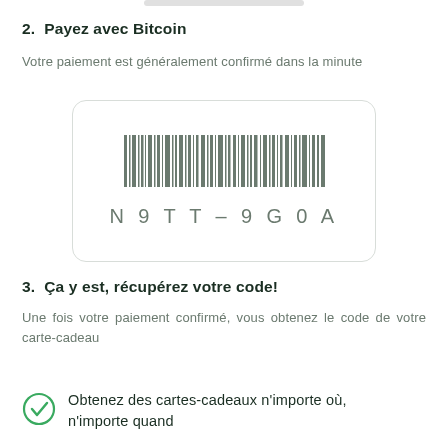2. Payez avec Bitcoin
Votre paiement est généralement confirmé dans la minute
[Figure (other): Barcode image with code N9TT-9G0A displayed below the bars]
3. Ça y est, récupérez votre code!
Une fois votre paiement confirmé, vous obtenez le code de votre carte-cadeau
Obtenez des cartes-cadeaux n'importe où, n'importe quand